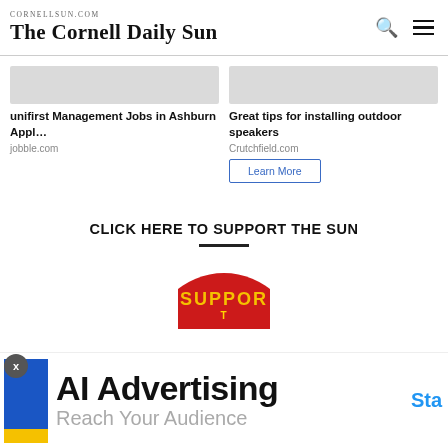The Cornell Daily Sun
[Figure (screenshot): Ad card with blurred image placeholder and text: unifirst Management Jobs in Ashburn Appl… from jobble.com]
[Figure (screenshot): Ad card with blurred image placeholder and text: Great tips for installing outdoor speakers from Crutchfield.com, with Learn More button]
CLICK HERE TO SUPPORT THE SUN
[Figure (logo): Red circular Support badge/logo partially visible]
[Figure (screenshot): Bottom advertisement bar: AI Advertising - Reach Your Audience with blue Sta... CTA button, small icon on left]